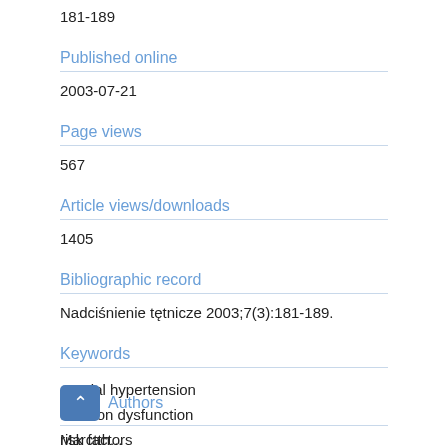181-189
Published online
2003-07-21
Page views
567
Article views/downloads
1405
Bibliographic record
Nadciśnienie tętnicze 2003;7(3):181-189.
Keywords
arterial hypertension
erection dysfunction
risk factors
Authors
Marcttho...